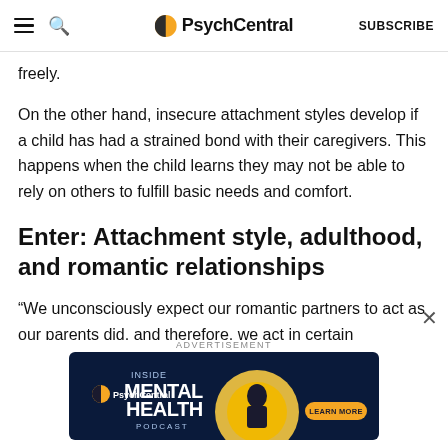PsychCentral — SUBSCRIBE
freely.
On the other hand, insecure attachment styles develop if a child has had a strained bond with their caregivers. This happens when the child learns they may not be able to rely on others to fulfill basic needs and comfort.
Enter: Attachment style, adulthood, and romantic relationships
“We unconsciously expect our romantic partners to act as our parents did, and therefore, we act in certain ways due to those expectations,” says Jordan. Those
[Figure (screenshot): PsychCentral advertisement banner for Inside Mental Health Podcast with Learn More button on dark blue background]